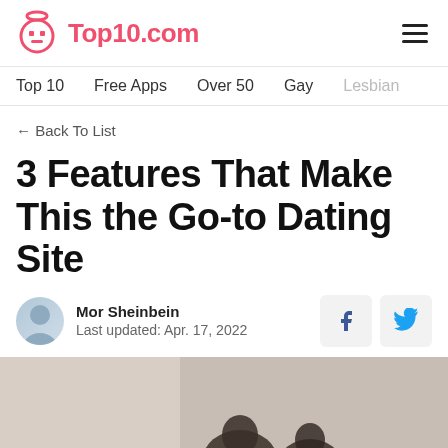Top10.com
Top 10   Free Apps   Over 50   Gay   Lesbian
← Back To List
3 Features That Make This the Go-to Dating Site
Mor Sheinbein
Last updated: Apr. 17, 2022
[Figure (photo): Photo of couple in a home setting, partially visible at bottom of page]